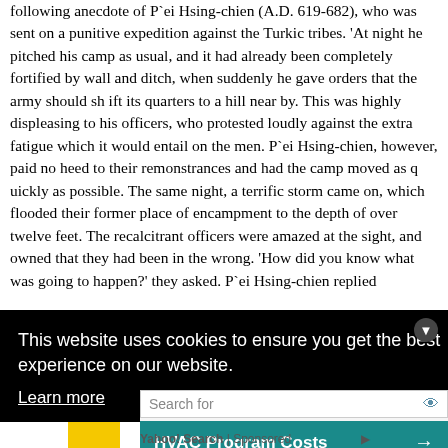following anecdote of P`ei Hsing-chien (A.D. 619-682), who was sent on a punitive expedition against the Turkic tribes. 'At night he pitched his camp as usual, and it had already been completely fortified by wall and ditch, when suddenly he gave orders that the army should sh ift its quarters to a hill near by. This was highly displeasing to his officers, who protested loudly against the extra fatigue which it would entail on the men. P`ei Hsing-chien, however, paid no heed to their remonstrances and had the camp moved as q uickly as possible. The same night, a terrific storm came on, which flooded their former place of encampment to the depth of over twelve feet. The recalcitrant officers were amazed at the sight, and owned that they had been in the wrong. 'How did you know what was going to happen?' they asked. P`ei Hsing-chien replied 'From this time forward nt to rom this nny o ow A.D. d Wang heights his
This website uses cookies to ensure you get the best experience on our website. Learn more
[Figure (screenshot): Cookie consent overlay with black background, 'This website uses cookies to ensure you get the best experience on our website. Learn more' text, and a search bar with Yahoo-sponsored HVAC Program Costs and Digital Employee Engagement ad buttons.]